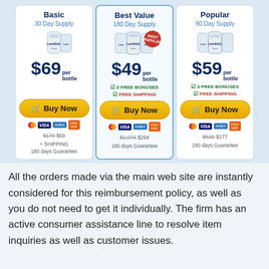[Figure (infographic): Pricing cards for LeanBelly supplement: Basic 30 Day Supply $69/bottle, Best Value 180 Day Supply $49/bottle (Most Popular badge), Popular 90 Day Supply $59/bottle. Each card has product image, price, bonuses, Buy Now button, credit card icons, and fine print with original/sale price and guarantee.]
All the orders made via the main web site are instantly considered for this reimbursement policy, as well as you do not need to get it individually. The firm has an active consumer assistance line to resolve item inquiries as well as customer issues.